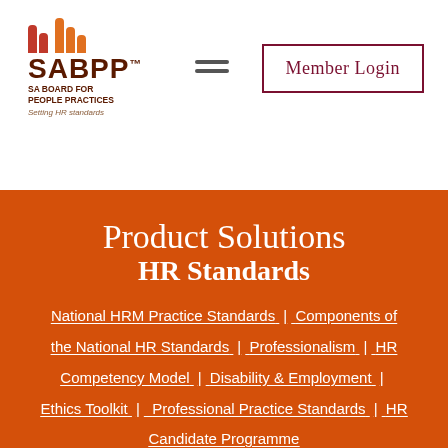[Figure (logo): SABPP logo — SA Board for People Practices, Setting HR standards — with colored bar chart icon in red and orange]
[Figure (other): Hamburger menu icon (three horizontal lines)]
Member Login
Product Solutions
HR Standards
National HRM Practice Standards | Components of the National HR Standards | Professionalism | HR Competency Model | Disability & Employment | Ethics Toolkit | Professional Practice Standards | HR Candidate Programme